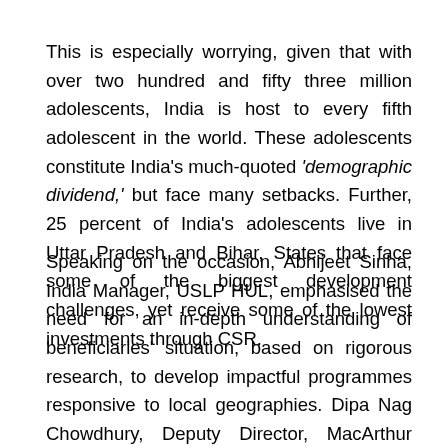This is especially worrying, given that with over two hundred and fifty three million adolescents, India is host to every fifth adolescent in the world. These adolescents constitute India's much-quoted 'demographic dividend,' but face many setbacks. Further, 25 percent of India's adolescents live in Uttar Pradesh and Bihar, States that face some of the biggest development challenges, yet receive some of the lowest investments through CSR.
Speaking on the occasion, Abhijeet Sinha, India Manager, USLP HUL, emphasised the need for an in-depth understanding of beneficiaries' situation, based on rigorous research, to develop impactful programmes responsive to local geographies. Dipa Nag Chowdhury, Deputy Director, MacArthur Foundation, stressed on the importance of evidence-backed investments to ensure that interventions